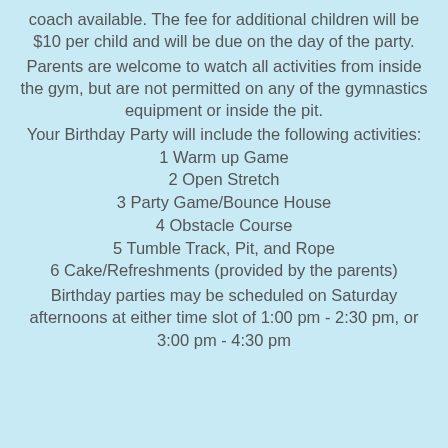coach available. The fee for additional children will be $10 per child and will be due on the day of the party.
Parents are welcome to watch all activities from inside the gym, but are not permitted on any of the gymnastics equipment or inside the pit.
Your Birthday Party will include the following activities:
1 Warm up Game
2 Open Stretch
3 Party Game/Bounce House
4 Obstacle Course
5 Tumble Track, Pit, and Rope
6 Cake/Refreshments (provided by the parents)
Birthday parties may be scheduled on Saturday afternoons at either time slot of 1:00 pm - 2:30 pm, or 3:00 pm - 4:30 pm